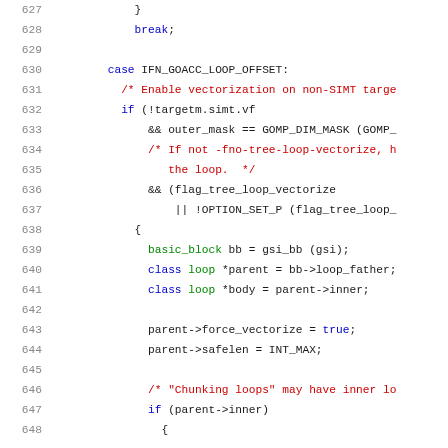Source code listing, lines 627-648, C++ compiler source code with syntax highlighting